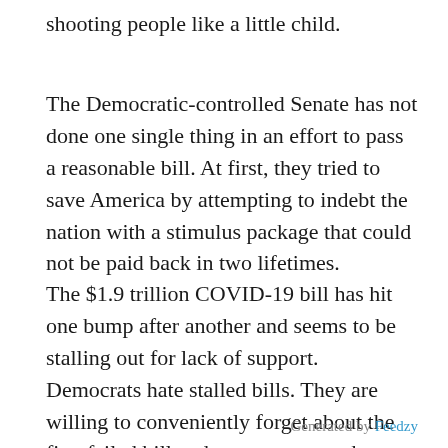shooting people like a little child.
The Democratic-controlled Senate has not done one single thing in an effort to pass a reasonable bill. At first, they tried to save America by attempting to indebt the nation with a stimulus package that could not be paid back in two lifetimes.
The $1.9 trillion COVID-19 bill has hit one bump after another and seems to be stalling out for lack of support. Democrats hate stalled bills. They are willing to conveniently forget about the first failed bill and move onto another topic. One that they could pass without much effort.
Generated by Feedzy